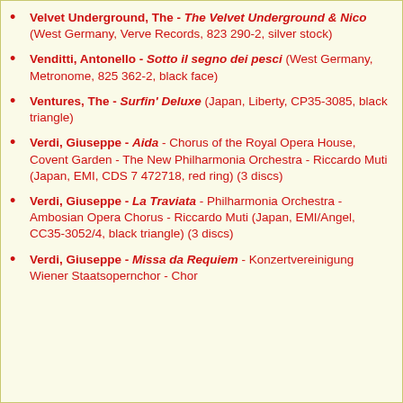Velvet Underground, The - The Velvet Underground & Nico (West Germany, Verve Records, 823 290-2, silver stock)
Venditti, Antonello - Sotto il segno dei pesci (West Germany, Metronome, 825 362-2, black face)
Ventures, The - Surfin' Deluxe (Japan, Liberty, CP35-3085, black triangle)
Verdi, Giuseppe - Aida - Chorus of the Royal Opera House, Covent Garden - The New Philharmonia Orchestra - Riccardo Muti (Japan, EMI, CDS 7 472718, red ring) (3 discs)
Verdi, Giuseppe - La Traviata - Philharmonia Orchestra - Ambosian Opera Chorus - Riccardo Muti (Japan, EMI/Angel, CC35-3052/4, black triangle) (3 discs)
Verdi, Giuseppe - Missa da Requiem - Konzertvereinigung Wiener Staatsopernchor - Chor